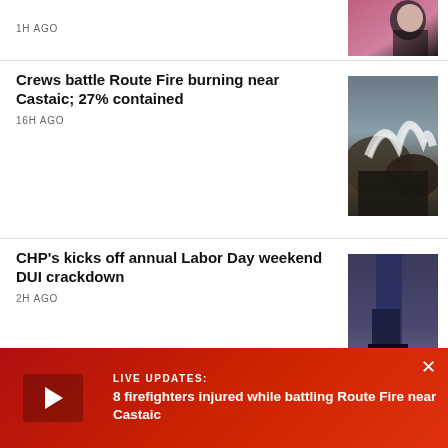1H AGO
[Figure (photo): Partial top story thumbnail showing person in black top]
Crews battle Route Fire burning near Castaic; 27% contained
16H AGO
[Figure (photo): Photo of Route Fire with smoke and charred hillside]
CHP's kicks off annual Labor Day weekend DUI crackdown
2H AGO
[Figure (photo): Photo of person's legs in jeans and dark shoes on pavement]
City Council officially appoints Heather Hutt as interim 10th District councilmember
2H AGO
[Figure (photo): Portrait of Heather Hutt in blue top against blue/grey background]
LIVE UPDATES: 8 firefighters injured while battling Route Fire near Castaic